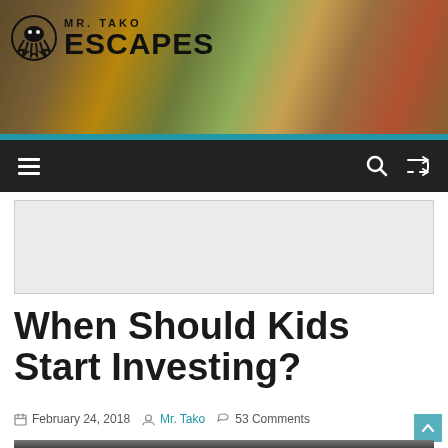[Figure (photo): Mr. Tako Escapes blog header banner with food photo background (seafood/vegetables) and logo overlay showing Mr. Tako Escapes text with decorative octopus icon]
Mr. Tako Escapes navigation bar with hamburger menu icon on left and search/shuffle icons on right
[Figure (other): Advertisement banner placeholder (gray box)]
When Should Kids Start Investing?
February 24, 2018  Mr. Tako  53 Comments